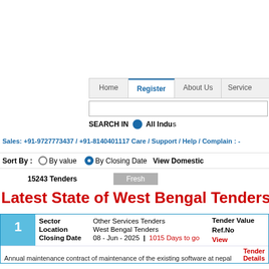Home | Register | About Us | Services
SEARCH IN  All Industries
Sales: +91-9727773437 / +91-8140401117 Care / Support / Help / Complain :
Sort By :   By value   By Closing Date   View Domestic
15243 Tenders   Fresh
Latest State of West Bengal Tenders
| # | Sector | Location | Closing Date | Tender Value | Ref.No |  |
| --- | --- | --- | --- | --- | --- | --- |
| 1 | Other Services Tenders | West Bengal Tenders | 08 - Jun - 2025  |  1015 Days to go | Tender Value | Ref.No | View Tender Details |
|  | Annual maintenance contract of maintenance of the existing software at nepal |  |  |  |  |  |